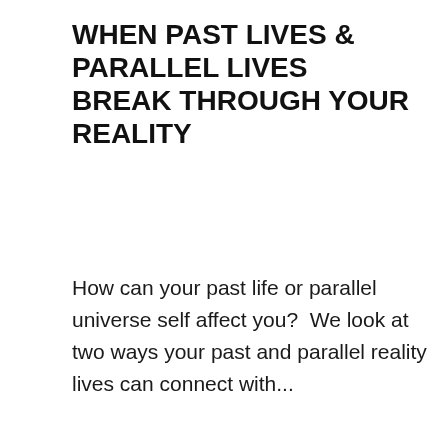WHEN PAST LIVES & PARALLEL LIVES BREAK THROUGH YOUR REALITY
How can your past life or parallel universe self affect you?  We look at two ways your past and parallel reality lives can connect with...
[Figure (photo): A photo with a light beige/cream background showing a partial silhouette of a person at the bottom of the frame]